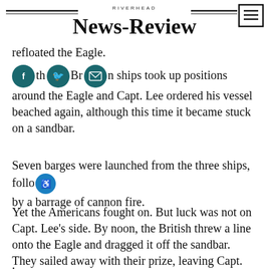RIVERHEAD NEWS-REVIEW
refloated the Eagle.
the British ships took up positions around the Eagle and Capt. Lee ordered his vessel beached again, although this time it became stuck on a sandbar.
Seven barges were launched from the three ships, followed by a barrage of cannon fire.
Yet the Americans fought on. But luck was not on Capt. Lee's side. By noon, the British threw a line onto the Eagle and dragged it off the sandbar. They sailed away with their prize, leaving Capt. Lee stranded on Long Island.
.